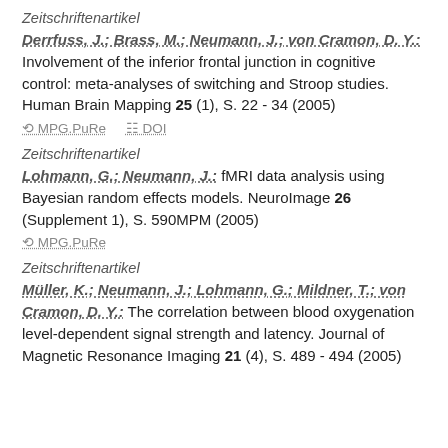Zeitschriftenartikel
Derrfuss, J.; Brass, M.; Neumann, J.; von Cramon, D. Y.: Involvement of the inferior frontal junction in cognitive control: meta-analyses of switching and Stroop studies. Human Brain Mapping 25 (1), S. 22 - 34 (2005)
MPG.PuRe   DOI
Zeitschriftenartikel
Lohmann, G.; Neumann, J.: fMRI data analysis using Bayesian random effects models. NeuroImage 26 (Supplement 1), S. 590MPM (2005)
MPG.PuRe
Zeitschriftenartikel
Müller, K.; Neumann, J.; Lohmann, G.; Mildner, T.; von Cramon, D. Y.: The correlation between blood oxygenation level-dependent signal strength and latency. Journal of Magnetic Resonance Imaging 21 (4), S. 489 - 494 (2005)